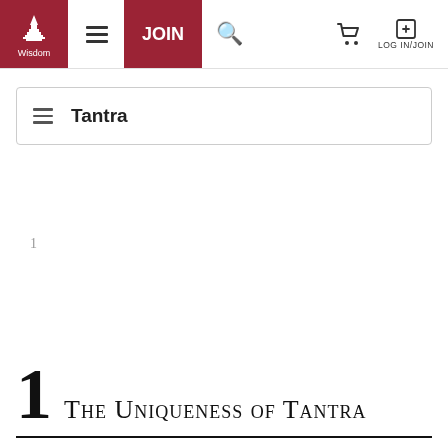Wisdom | JOIN | LOG IN/JOIN
Tantra
1
1 The Uniqueness of Tantra